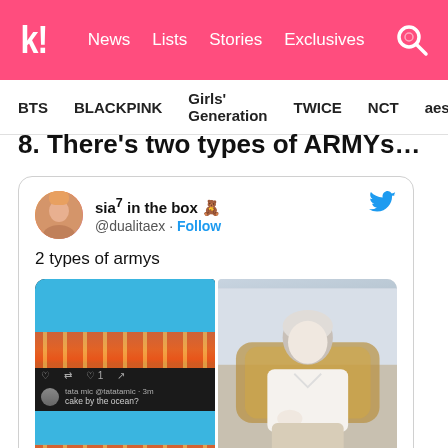k! News Lists Stories Exclusives
BTS BLACKPINK Girls' Generation TWICE NCT aespa
8. There’s two types of ARMYs…
[Figure (screenshot): Embedded tweet from @dualitaex showing '2 types of armys' with a split image: left side shows a phone screenshot of a BTS beach photo tweet with a reply 'cake by the ocean?', right side shows a K-pop idol (white hair, white outfit) sitting in a gold chair.]